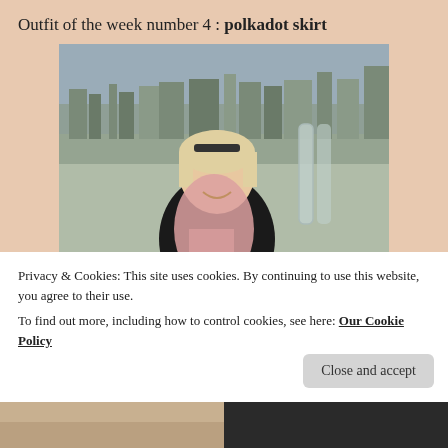Outfit of the week number 4 : polkadot skirt
[Figure (photo): Blonde woman smiling on a rooftop terrace with a city skyline behind her, wearing a black top and pink scarf]
Privacy & Cookies: This site uses cookies. By continuing to use this website, you agree to their use.
To find out more, including how to control cookies, see here: Our Cookie Policy
Close and accept